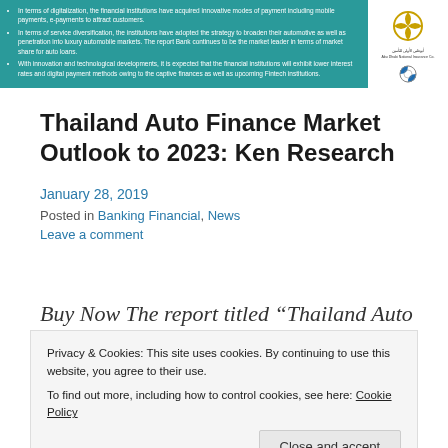[Figure (other): Teal/green banner with bullet point text about financial institutions and digitalization, with logos (decorative circle logo and BMW logo) on white background on the right side]
Thailand Auto Finance Market Outlook to 2023: Ken Research
January 28, 2019
Posted in Banking Financial, News
Leave a comment
Buy Now The report titled “Thailand Auto Finance
Privacy & Cookies: This site uses cookies. By continuing to use this website, you agree to their use.
To find out more, including how to control cookies, see here: Cookie Policy
Close and accept